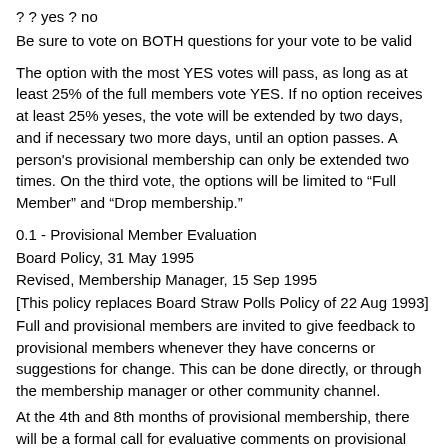? ? yes ? no
Be sure to vote on BOTH questions for your vote to be valid
The option with the most YES votes will pass, as long as at least 25% of the full members vote YES. If no option receives at least 25% yeses, the vote will be extended by two days, and if necessary two more days, until an option passes. A person's provisional membership can only be extended two times. On the third vote, the options will be limited to “Full Member” and “Drop membership.”
0.1 - Provisional Member Evaluation
Board Policy, 31 May 1995
Revised, Membership Manager, 15 Sep 1995
[This policy replaces Board Straw Polls Policy of 22 Aug 1993]
Full and provisional members are invited to give feedback to provisional members whenever they have concerns or suggestions for change. This can be done directly, or through the membership manager or other community channel.
At the 4th and 8th months of provisional membership, there will be a formal call for evaluative comments on provisional members. The membership manager will post a note indicating that evaluation of